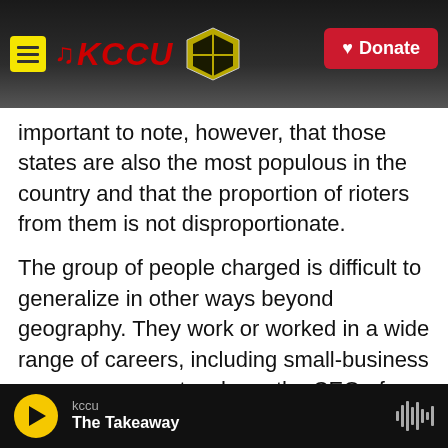[Figure (screenshot): KCCU radio station website header banner with hamburger menu icon, KCCU logo with music notes, Cameron University logo, and a red Donate button. Dark background with campus photo visible.]
important to note, however, that those states are also the most populous in the country and that the proportion of rioters from them is not disproportionate.
The group of people charged is difficult to generalize in other ways beyond geography. They work or worked in a wide range of careers, including small-business owners, nurses, teachers, the CEO of a marketing firm and an actor who appeared on the television show Friday Night Lights, among many others.
kccu
The Takeaway